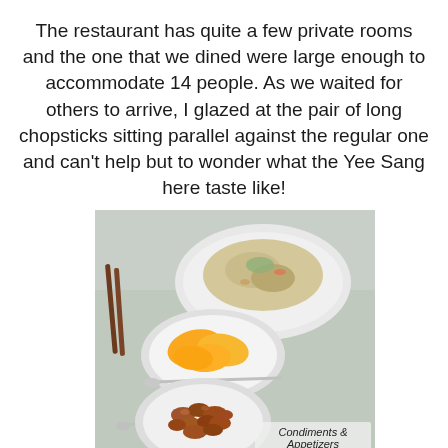The restaurant has quite a few private rooms and the one that we dined were large enough to accommodate 14 people. As we waited for others to arrive, I glazed at the pair of long chopsticks sitting parallel against the regular one and can't help but to wonder what the Yee Sang here taste like!
[Figure (photo): Photo of restaurant condiments and appetizers: a bowl of noodles/salad dish in the background, a bowl of sliced orange mango in the middle, and a bowl of peanuts/nuts in the foreground, arranged on a table with spoons and chopsticks. Text overlay reads 'Condiments & Appetizers'.]